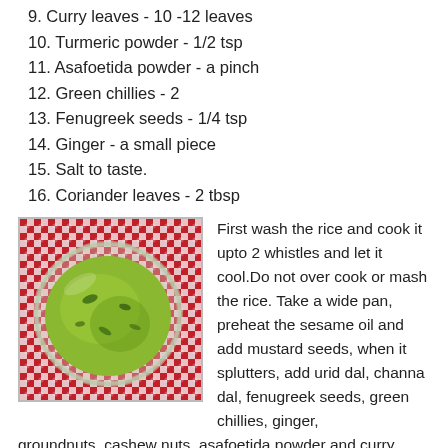9. Curry leaves - 10 -12 leaves
10. Turmeric powder - 1/2 tsp
11. Asafoetida powder - a pinch
12. Green chillies - 2
13. Fenugreek seeds - 1/4 tsp
14. Ginger - a small piece
15. Salt to taste.
16. Coriander leaves - 2 tbsp
[Figure (photo): A bowl of green rice dish (coriander rice / herb rice) served in a glass bowl, placed on a red and white checkered tablecloth.]
First wash the rice and cook it upto 2 whistles and let it cool.Do not over cook or mash the rice. Take a wide pan, preheat the sesame oil and add mustard seeds, when it splutters, add urid dal, channa dal, fenugreek seeds, green chillies, ginger, groundnuts, cashew nuts, asafoetida powder and curry leaves and fry these ingredients in a medium flame, to golden brown. Do not burn these ingredients. Turn off the